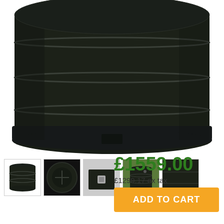[Figure (photo): Large black plastic water storage tank shown from below/side angle, close-up of the ribbed cylindrical body and wide flat base with a small outlet at the bottom]
[Figure (photo): Row of five thumbnail images showing different angles of the black water tank]
£1559.00
£1299.17 ex tax
ADD TO CART